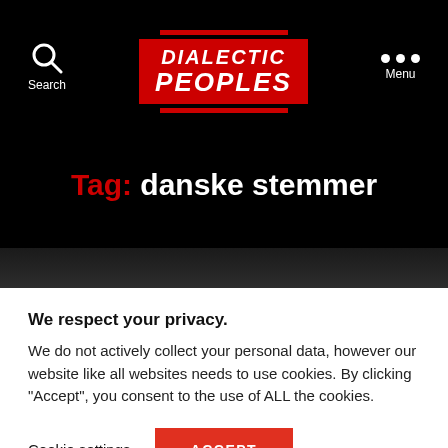[Figure (logo): Dialectic Peoples logo — white italic text on red background with red top and bottom bars]
Tag: danske stemmer
We respect your privacy.
We do not actively collect your personal data, however our website like all websites needs to use cookies. By clicking "Accept", you consent to the use of ALL the cookies.
Cookie settings   ACCEPT